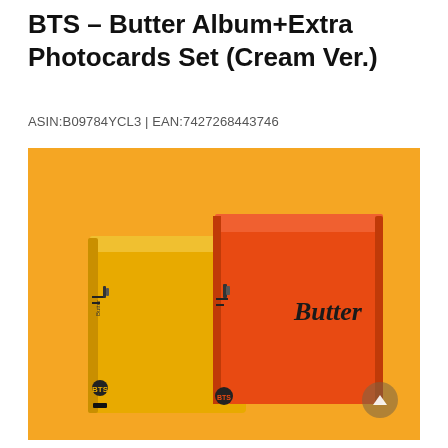BTS – Butter Album+Extra Photocards Set (Cream Ver.)
ASIN:B09784YCL3 | EAN:7427268443746
[Figure (photo): Product photo of BTS Butter Album – two square album boxes (one yellow/gold, one orange-red) on an orange background. The orange-red box has 'Butter' written on its face in dark lettering, and both boxes have the BTS logo on their spines.]